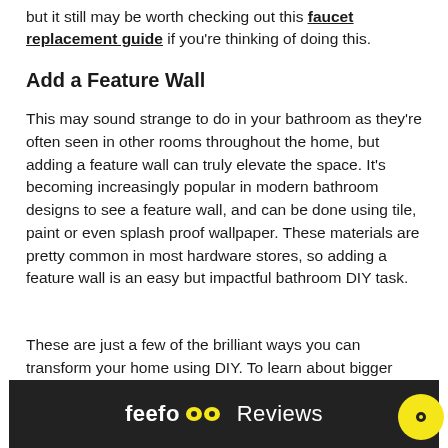but it still may be worth checking out this faucet replacement guide if you're thinking of doing this.
Add a Feature Wall
This may sound strange to do in your bathroom as they're often seen in other rooms throughout the home, but adding a feature wall can truly elevate the space. It's becoming increasingly popular in modern bathroom designs to see a feature wall, and can be done using tile, paint or even splash proof wallpaper. These materials are pretty common in most hardware stores, so adding a feature wall is an easy but impactful bathroom DIY task.
These are just a few of the brilliant ways you can transform your home using DIY. To learn about bigger remodelling tasks that can add value to your home,
[Figure (other): Feefo Reviews bar overlay at the bottom of the page, with chat bubble icon on the right]